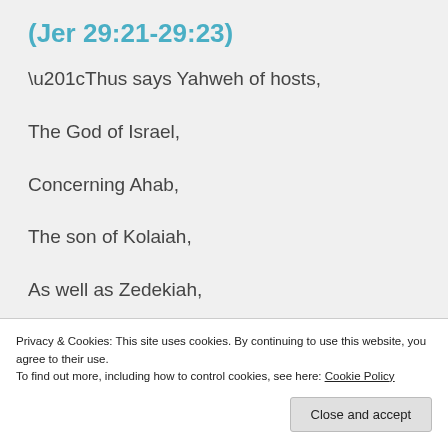(Jer 29:21-29:23)
“Thus says Yahweh of hosts,
The God of Israel,
Concerning Ahab,
The son of Kolaiah,
As well as Zedekiah,
Privacy & Cookies: This site uses cookies. By continuing to use this website, you agree to their use.
To find out more, including how to control cookies, see here: Cookie Policy
To you in my name.